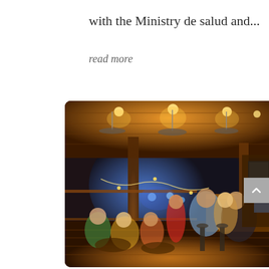with the Ministry de salud and...
read more
[Figure (photo): Nighttime photo of a crowded wooden deck bar/restaurant with warm overhead lighting. People are seated at tables and standing at a bar on the right side. Ceiling fans hang from a wood-paneled ceiling. Blue lights are visible outside in the background through an open-air railing.]